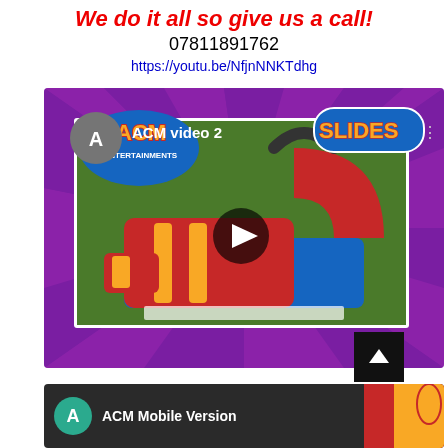We do it all so give us a call!
07811891762
https://youtu.be/NfjnNNKTdhg
[Figure (screenshot): YouTube video thumbnail showing ACM Entertainments video 2 with a red, yellow and blue inflatable slide on a lawn. Purple branded border with 'SLIDES' text. Play button overlay. Channel avatar 'A' in grey circle.]
[Figure (screenshot): YouTube mobile UI showing 'ACM Mobile Version' video entry with teal avatar circle with 'A', dark background, three-dot menu icon and partial animated video thumbnail.]